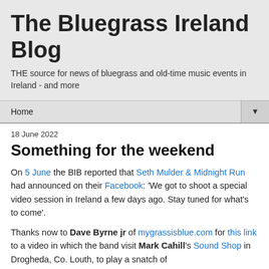The Bluegrass Ireland Blog
THE source for news of bluegrass and old-time music events in Ireland - and more
Home ▼
18 June 2022
Something for the weekend
On 5 June the BIB reported that Seth Mulder & Midnight Run had announced on their Facebook: 'We got to shoot a special video session in Ireland a few days ago. Stay tuned for what's to come'.
Thanks now to Dave Byrne jr of mygrassisblue.com for this link to a video in which the band visit Mark Cahill's Sound Shop in Drogheda, Co. Louth, to play a snatch of